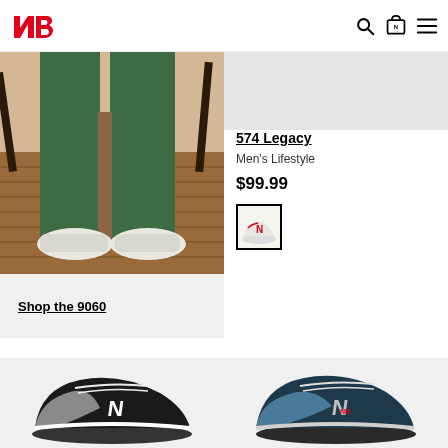New Balance header with logo, search, cart, and menu icons
[Figure (photo): Person wearing green pants and white New Balance 9060 sneakers standing on wooden floor]
Shop the 9060
[Figure (photo): Gray placeholder area at top of right product panel]
574 Legacy
Men's Lifestyle
$99.99
[Figure (photo): White with red New Balance 574 Legacy sneaker swatch thumbnail]
[Figure (photo): Black and gray New Balance sneaker on white background, bottom left]
[Figure (photo): Dark teal and gray New Balance sneaker on white background, bottom right]